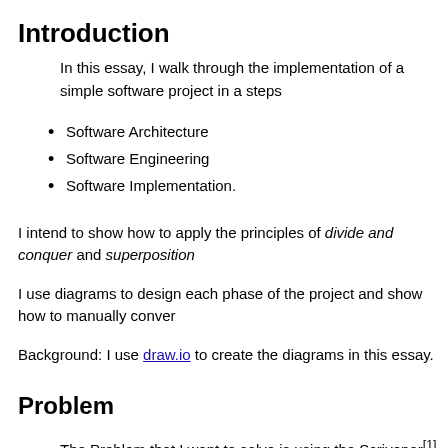Introduction
In this essay, I walk through the implementation of a simple software project in a steps
Software Architecture
Software Engineering
Software Implementation.
I intend to show how to apply the principles of divide and conquer and superposition
I use diagrams to design each phase of the project and show how to manually conver
Background: I use draw.io to create the diagrams in this essay.
Problem
The Problem that I want to solve is using the Scrivener[1] writing tool to produce with Github Pages.
Github Pages uses the Jekyll[2] tool and the file formats prescribed by Jekyll.
I decompose the problem into several parts: